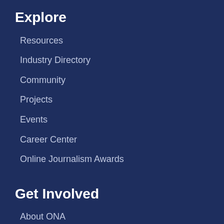Explore
Resources
Industry Directory
Community
Projects
Events
Career Center
Online Journalism Awards
Get Involved
About ONA
Board of Directors
Recent News
Become a Member